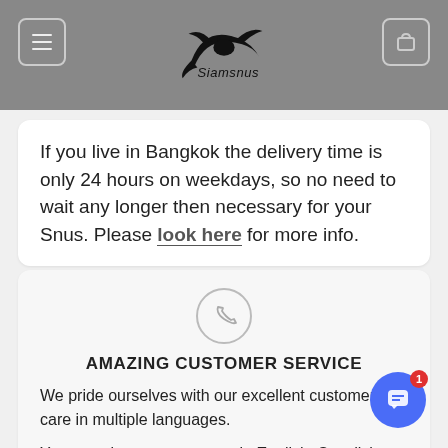Siamsnus – navigation header with menu and cart buttons
If you live in Bangkok the delivery time is only 24 hours on weekdays, so no need to wait any longer then necessary for your Snus. Please look here for more info.
[Figure (illustration): Circular phone/call icon with grey border]
AMAZING CUSTOMER SERVICE
We pride ourselves with our excellent customer care in multiple languages.
You can always contact us in English, Swedish or Thai through multiple channels such as email, phone, ch (even fax) and be sure to get a swift reply.